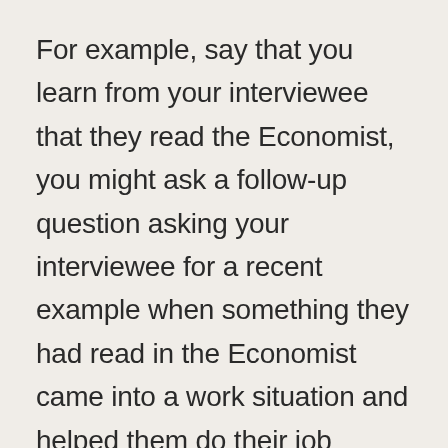For example, say that you learn from your interviewee that they read the Economist, you might ask a follow-up question asking your interviewee for a recent example when something they had read in the Economist came into a work situation and helped them do their job better.
A major part of how any group